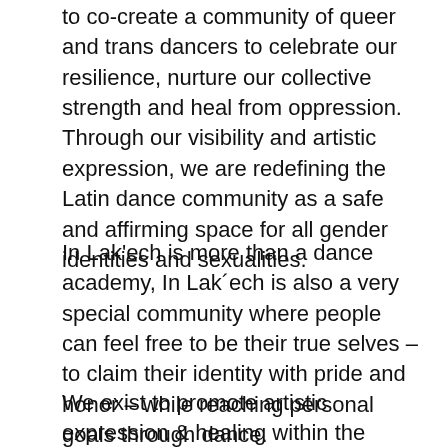to co-create a community of queer and trans dancers to celebrate our resilience, nurture our collective strength and heal from oppression. Through our visibility and artistic expression, we are redefining the Latin dance community as a safe and affirming space for all gender identities and sexualities.
In Lak'ech is more than a dance academy, In Lak´ech is also a very special community where people can feel free to be their true selves – to claim their identity with pride and honor – while reaching personal goals through dance.
We exist to promote artistic expression & healing within the queer community. We want to provide an opportunity for Queer